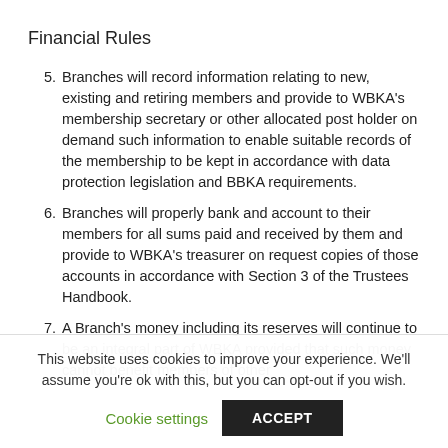Financial Rules
5. Branches will record information relating to new, existing and retiring members and provide to WBKA's membership secretary or other allocated post holder on demand such information to enable suitable records of the membership to be kept in accordance with data protection legislation and BBKA requirements.
6. Branches will properly bank and account to their members for all sums paid and received by them and provide to WBKA's treasurer on request copies of those accounts in accordance with Section 3 of the Trustees Handbook.
7. A Branch's money including its reserves will continue to be an integral part of WBKA provided that such money cannot benefit members of other
This website uses cookies to improve your experience. We'll assume you're ok with this, but you can opt-out if you wish.
Cookie settings    ACCEPT